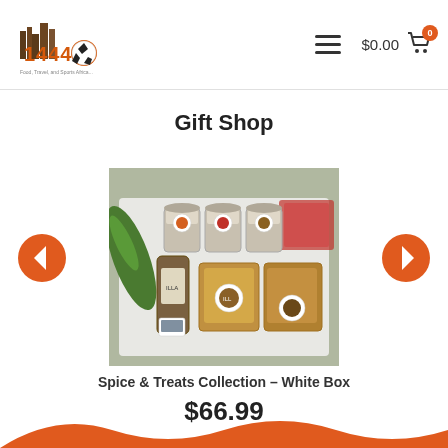[Figure (logo): Website logo with text '1444' and food/city imagery]
$0.00  0
Gift Shop
[Figure (photo): A white box containing spice jars, bottled products with branded labels, and packaged treats]
Spice & Treats Collection – White Box
$66.99